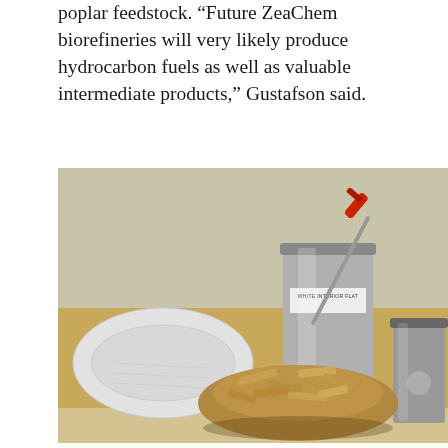poplar feedstock. “Future ZeaChem biorefineries will very likely produce hydrocarbon fuels as well as valuable intermediate products,” Gustafson said.
[Figure (photo): Photograph showing a white paint tray, a paint roller with red handle, a large metal paint can labeled 'WHITE INTERIOR FLAT', a smaller metal paint can, and a pile of wood chips on newspaper on a table.]